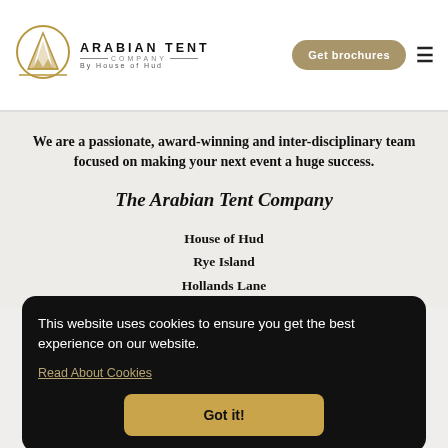[Figure (logo): Arabian Tent Company logo — circular tent icon with triangular pattern, accompanied by text 'ARABIAN TENT COMPANY By House of Hud']
Get brochures
We are a passionate, award-winning and inter-disciplinary team focused on making your next event a huge success.
The Arabian Tent Company
House of Hud
Rye Island
Hollands Lane
This website uses cookies to ensure you get the best experience on our website.
Read About Cookies
Got it!